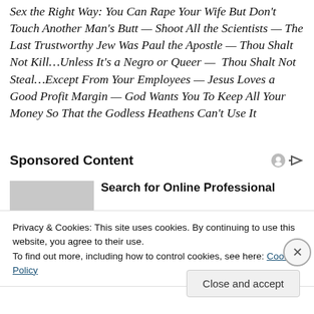Sex the Right Way: You Can Rape Your Wife But Don't Touch Another Man's Butt — Shoot All the Scientists — The Last Trustworthy Jew Was Paul the Apostle — Thou Shalt Not Kill…Unless It's a Negro or Queer — Thou Shalt Not Steal…Except From Your Employees — Jesus Loves a Good Profit Margin — God Wants You To Keep All Your Money So That the Godless Heathens Can't Use It
Sponsored Content
[Figure (other): Sponsored content advertisement image placeholder (gray rectangle) with text: Search for Online Professional]
Privacy & Cookies: This site uses cookies. By continuing to use this website, you agree to their use.
To find out more, including how to control cookies, see here: Cookie Policy
Close and accept